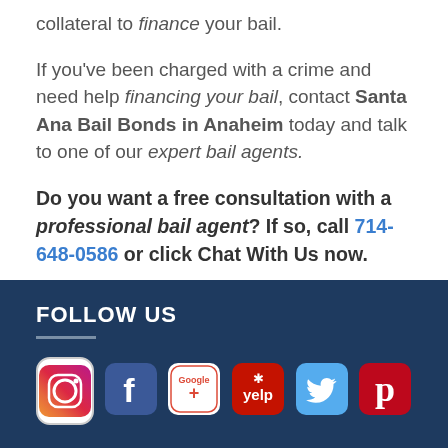collateral to finance your bail.
If you've been charged with a crime and need help financing your bail, contact Santa Ana Bail Bonds in Anaheim today and talk to one of our expert bail agents.
Do you want a free consultation with a professional bail agent? If so, call 714-648-0586 or click Chat With Us now.
FOLLOW US
[Figure (infographic): Row of six social media icons: Instagram, Facebook, Google+, Yelp, Twitter, Pinterest]
ABOUT SANTA ANA BAIL BONDS